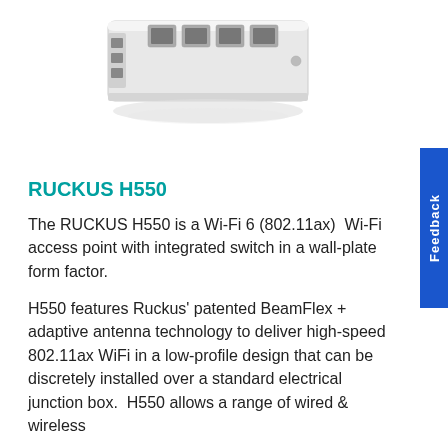[Figure (photo): RUCKUS H550 Wi-Fi access point hardware device showing Ethernet ports on top, wall-plate form factor, white/gray color, viewed from above at an angle with a shadow reflection below.]
RUCKUS H550
The RUCKUS H550 is a Wi-Fi 6 (802.11ax)  Wi-Fi access point with integrated switch in a wall-plate form factor.
H550 features Ruckus' patented BeamFlex + adaptive antenna technology to deliver high-speed 802.11ax WiFi in a low-profile design that can be discretely installed over a standard electrical junction box.  H550 allows a range of wired & wireless